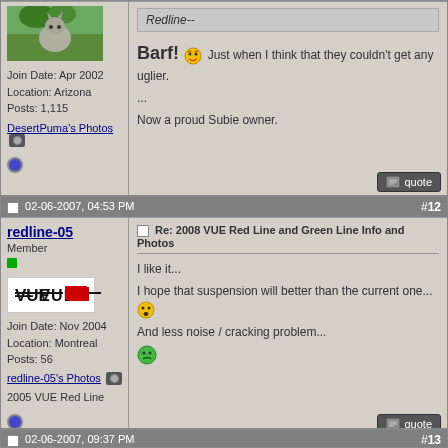[Figure (photo): Partial forum post top: avatar photo of a wolf/puma statue outdoors]
Join Date: Apr 2002
Location: Arizona
Posts: 1,115
DesertPuma's Photos
Redline--
Barf! Just when I think that they couldn't get any uglier.
...
Now a proud Subie owner.
02-06-2007, 04:53 PM  #12
redline-05
Member
[Figure (logo): VUE Red Line logo — black text VUE with red rectangle accent]
Join Date: Nov 2004
Location: Montreal
Posts: 56
redline-05's Photos
2005 VUE Red Line
Re: 2008 VUE Red Line and Green Line Info and Photos
I like it...

I hope that suspension will better than the current one...

And less noise / cracking problem...
02-06-2007, 09:37 PM  #13
lordkosc
Re: 08 Saturn Vue Red Line & Green